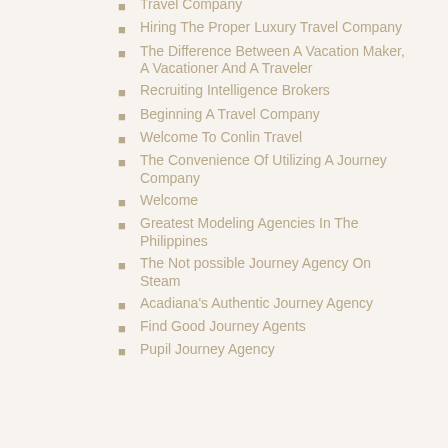Travel Company
Hiring The Proper Luxury Travel Company
The Difference Between A Vacation Maker, A Vacationer And A Traveler
Recruiting Intelligence Brokers
Beginning A Travel Company
Welcome To Conlin Travel
The Convenience Of Utilizing A Journey Company
Welcome
Greatest Modeling Agencies In The Philippines
The Not possible Journey Agency On Steam
Acadiana's Authentic Journey Agency
Find Good Journey Agents
Pupil Journey Agency